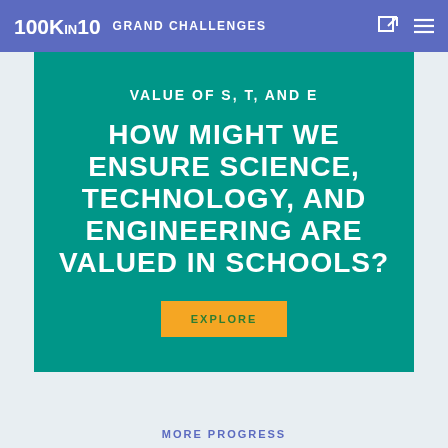100KIN10 GRAND CHALLENGES
VALUE OF S, T, AND E
HOW MIGHT WE ENSURE SCIENCE, TECHNOLOGY, AND ENGINEERING ARE VALUED IN SCHOOLS?
EXPLORE
MORE PROGRESS